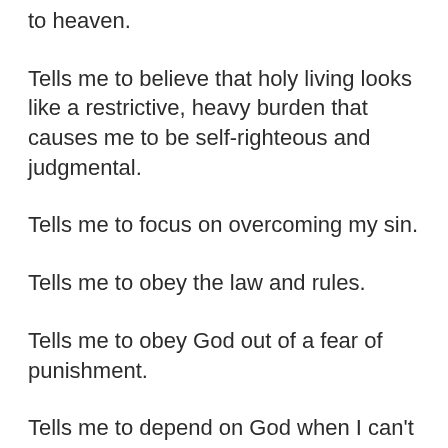to heaven.
Tells me to believe that holy living looks like a restrictive, heavy burden that causes me to be self-righteous and judgmental.
Tells me to focus on overcoming my sin.
Tells me to obey the law and rules.
Tells me to obey God out of a fear of punishment.
Tells me to depend on God when I can't help myself.